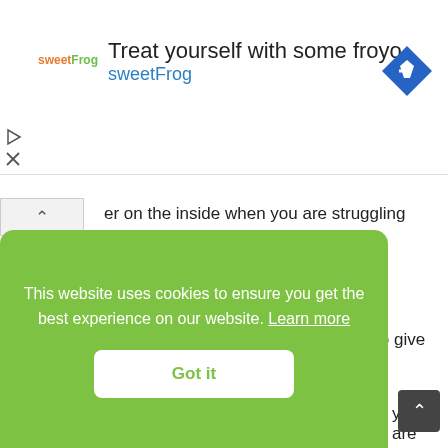[Figure (screenshot): Advertisement banner for sweetFrog frozen yogurt with logo, headline text, and navigation icon]
er on the inside when you are struggling with self-esteem.
10. List Your Accomplishments
[Figure (photo): Photo of a person with brown curly hair against a warm brown background]
Don't be too shy to give yourself a
t dit ite
This website uses cookies to ensure you get the best experience on our website. Learn more
Got it
you are